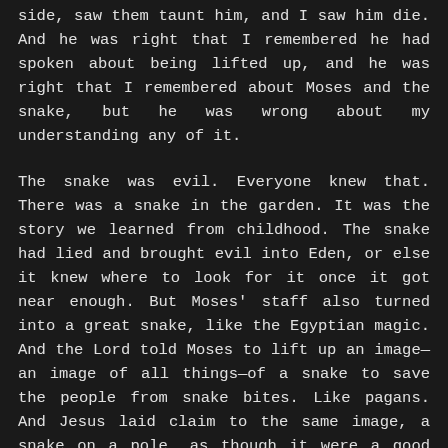side, saw them taunt him, and I saw him die. And he was right that I remembered he had spoken about being lifted up, and he was right that I remembered about Moses and the snake, but he was wrong about my understanding any of it.
The snake was evil. Everyone knew that. There was a snake in the garden. It was the story we learned from childhood. The snake had lied and brought evil into Eden, or else it knew where to look for it once it got near enough. But Moses' staff also turned into a great snake, like the Egyptian magic. And the Lord told Moses to lift up an image—an image of all things—of a snake to save the people from snake bites. Like pagans. And Jesus laid claim to the same image, a snake on a pole, as though it were a good thing.
One day I realized that he might have been right. Maybe the snake wasn't evil. Maybe the snake was simply wise, if there ever had been a snake. Maybe it recognized that a